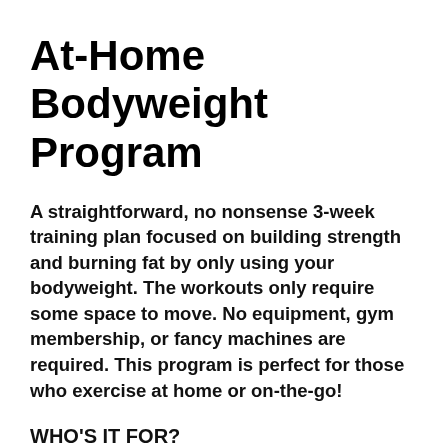At-Home Bodyweight Program
A straightforward, no nonsense 3-week training plan focused on building strength and burning fat by only using your bodyweight. The workouts only require some space to move. No equipment, gym membership, or fancy machines are required. This program is perfect for those who exercise at home or on-the-go!
WHO'S IT FOR?
Beginners-to-Advanced Exercisers